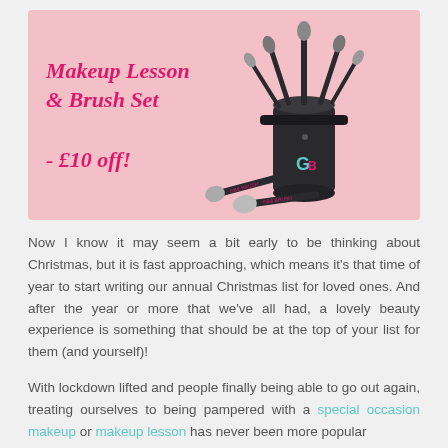[Figure (illustration): Promotional banner with pink background showing a makeup brush set in a black cylindrical case with the brand logo 'GB', and italic handwriting-style text reading 'Makeup Lesson & Brush Set - £10 off!' in pink/magenta on the left side.]
Now I know it may seem a bit early to be thinking about Christmas, but it is fast approaching, which means it's that time of year to start writing our annual Christmas list for loved ones. And after the year or more that we've all had, a lovely beauty experience is something that should be at the top of your list for them (and yourself)!
With lockdown lifted and people finally being able to go out again, treating ourselves to being pampered with a special occasion makeup or makeup lesson has never been more popular